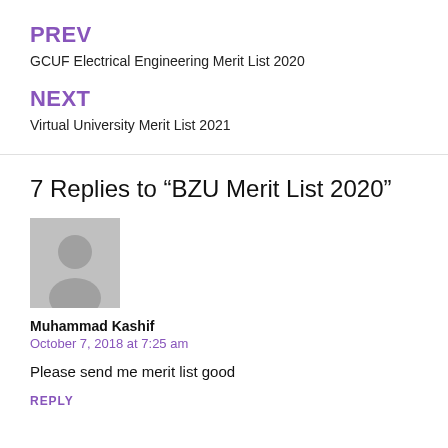PREV
GCUF Electrical Engineering Merit List 2020
NEXT
Virtual University Merit List 2021
7 Replies to “BZU Merit List 2020”
[Figure (illustration): Default user avatar - grey silhouette of a person on grey background]
Muhammad Kashif
October 7, 2018 at 7:25 am
Please send me merit list good
REPLY